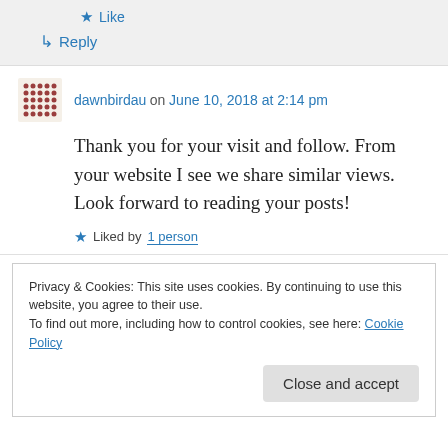★ Like
↳ Reply
dawnbirdau on June 10, 2018 at 2:14 pm
Thank you for your visit and follow. From your website I see we share similar views. Look forward to reading your posts!
★ Liked by 1 person
Privacy & Cookies: This site uses cookies. By continuing to use this website, you agree to their use.
To find out more, including how to control cookies, see here: Cookie Policy
Close and accept